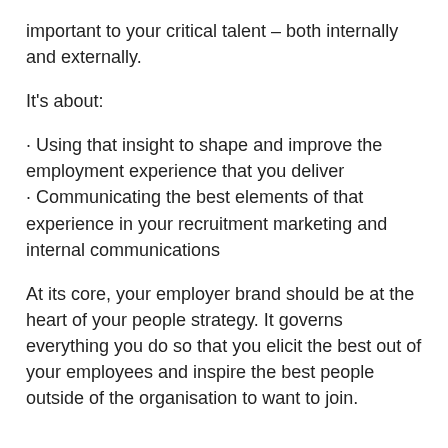important to your critical talent – both internally and externally.
It's about:
· Using that insight to shape and improve the employment experience that you deliver
· Communicating the best elements of that experience in your recruitment marketing and internal communications
At its core, your employer brand should be at the heart of your people strategy. It governs everything you do so that you elicit the best out of your employees and inspire the best people outside of the organisation to want to join.